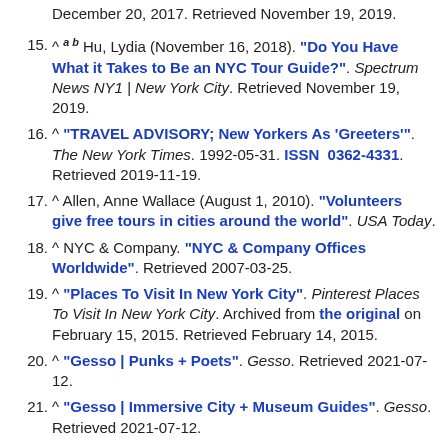December 20, 2017. Retrieved November 19, 2019.
15. ^ a b Hu, Lydia (November 16, 2018). "Do You Have What it Takes to Be an NYC Tour Guide?". Spectrum News NY1 | New York City. Retrieved November 19, 2019.
16. ^ "TRAVEL ADVISORY; New Yorkers As 'Greeters'". The New York Times. 1992-05-31. ISSN 0362-4331. Retrieved 2019-11-19.
17. ^ Allen, Anne Wallace (August 1, 2010). "Volunteers give free tours in cities around the world". USA Today.
18. ^ NYC & Company. "NYC & Company Offices Worldwide". Retrieved 2007-03-25.
19. ^ "Places To Visit In New York City". Pinterest Places To Visit In New York City. Archived from the original on February 15, 2015. Retrieved February 14, 2015.
20. ^ "Gesso | Punks + Poets". Gesso. Retrieved 2021-07-12.
21. ^ "Gesso | Immersive City + Museum Guides". Gesso. Retrieved 2021-07-12.